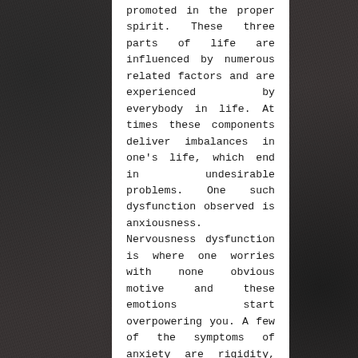promoted in the proper spirit. These three parts of life are influenced by numerous related factors and are experienced by everybody in life. At times these components deliver imbalances in one's life, which end in undesirable problems. One such dysfunction observed is anxiousness. Nervousness dysfunction is where one worries with none obvious motive and these emotions start overpowering you. A few of the symptoms of anxiety are rigidity, irritation, panic assaults, impatience, restlessness and lack of focus.
It's all the time better to be protected than